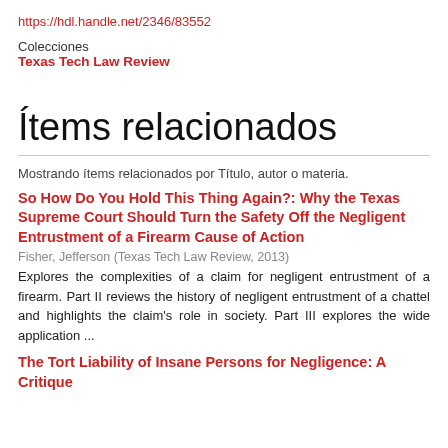https://hdl.handle.net/2346/83552
Colecciones
Texas Tech Law Review
Ítems relacionados
Mostrando ítems relacionados por Título, autor o materia.
So How Do You Hold This Thing Again?: Why the Texas Supreme Court Should Turn the Safety Off the Negligent Entrustment of a Firearm Cause of Action
Fisher, Jefferson (Texas Tech Law Review, 2013)
Explores the complexities of a claim for negligent entrustment of a firearm. Part II reviews the history of negligent entrustment of a chattel and highlights the claim's role in society. Part III explores the wide application ...
The Tort Liability of Insane Persons for Negligence: A Critique